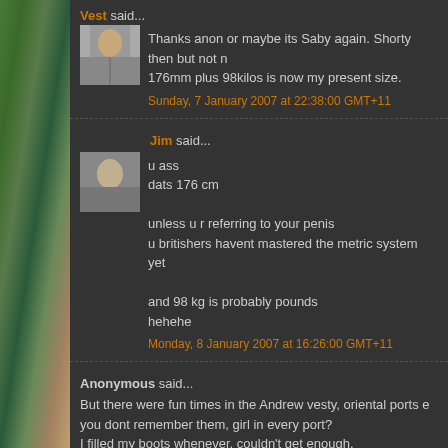Vest said...
Thanks anon or maybe its Saby again. Shorty then but not n... 176mm plus 98kilos is now my present size.
Sunday, 7 January 2007 at 22:38:00 GMT+11
Jim said...
u ass
dats 176 cm

unless u r referring to your penis
u britishers havent mastered the metric system yet

and 98 kg is probably pounds
hehehe
Monday, 8 January 2007 at 16:26:00 GMT+11
Anonymous said...
But there were fun times in the Andrew vesty, oriental ports e... you dont remember them, girl in every port?
I filled my boots whenever, couldn't get enough.